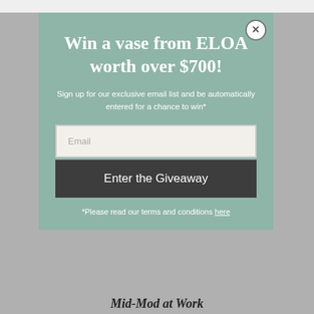Win a vase from ELOA worth over $700!
Sign up for our exclusive email list and be automatically entered for a chance to win*
Email
Enter the Giveaway
*Please read our terms and conditions here
Mid-Mod at Work